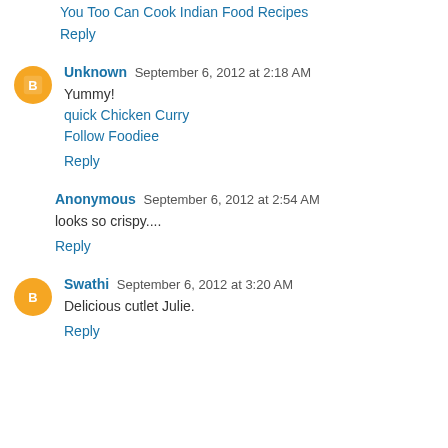You Too Can Cook Indian Food Recipes
Reply
Unknown  September 6, 2012 at 2:18 AM
Yummy!
quick Chicken Curry
Follow Foodiee
Reply
Anonymous  September 6, 2012 at 2:54 AM
looks so crispy....
Reply
Swathi  September 6, 2012 at 3:20 AM
Delicious cutlet Julie.
Reply